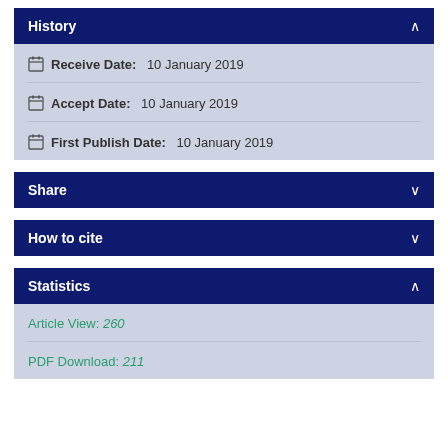History
Receive Date: 10 January 2019
Accept Date: 10 January 2019
First Publish Date: 10 January 2019
Share
How to cite
Statistics
Article View: 260
PDF Download: 211